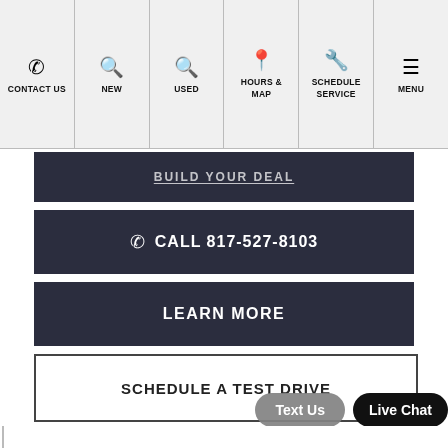CONTACT US | NEW | USED | HOURS & MAP | SCHEDULE SERVICE | MENU
BUILD YOUR DEAL
CALL 817-527-8103
LEARN MORE
SCHEDULE A TEST DRIVE
CERTIFIED 2019 VOLVO XC90 T5 FWD Momentum PRICE $44,500